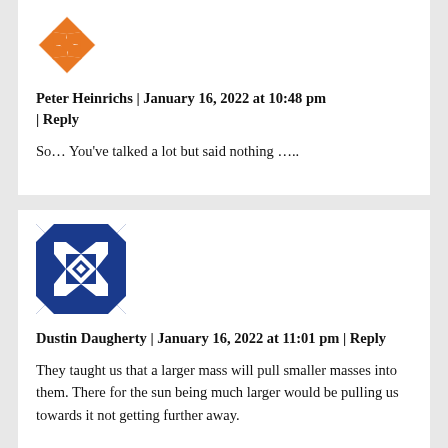[Figure (illustration): Orange geometric quilt-pattern avatar for Peter Heinrichs]
Peter Heinrichs | January 16, 2022 at 10:48 pm | Reply
So… You've talked a lot but said nothing …..
[Figure (illustration): Blue and white geometric quilt-pattern avatar for Dustin Daugherty]
Dustin Daugherty | January 16, 2022 at 11:01 pm | Reply
They taught us that a larger mass will pull smaller masses into them. There for the sun being much larger would be pulling us towards it not getting further away.